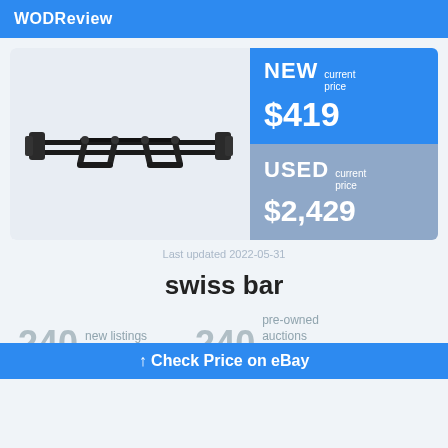WODReview
[Figure (photo): Swiss bar / football bar - a black multi-grip barbell with angled handles and parallel grip sections, side view]
NEW current price $419
USED current price $2,429
Last updated 2022-05-31
swiss bar
240 new listings on sale
240 pre-owned auctions for sale on eBay
↑ Check Price on eBay